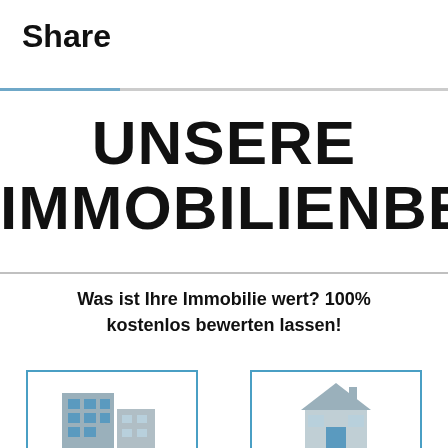Share
UNSERE IMMOBILIENBEW
Was ist Ihre Immobilie wert? 100% kostenlos bewerten lassen!
[Figure (illustration): Two icon boxes side by side with building/house illustrations inside, bordered in blue]
[Figure (illustration): House icon in blue-bordered box]